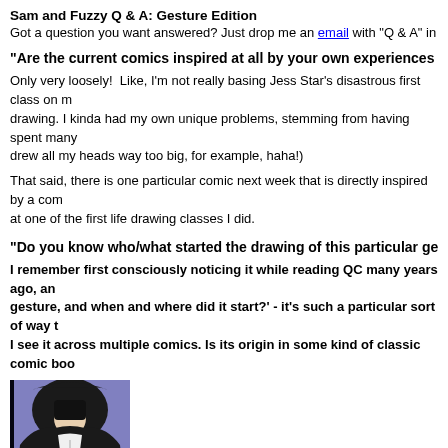Sam and Fuzzy Q & A: Gesture Edition
Got a question you want answered? Just drop me an email with "Q & A" in the subj
"Are the current comics inspired at all by your own experiences trying life dra
Only very loosely!  Like, I'm not really basing Jess Star’s disastrous first class on m drawing. I kinda had my own unique problems, stemming from having spent many drew all my heads way too big, for example, haha!)
That said, there is one particular comic next week that is directly inspired by a com at one of the first life drawing classes I did.
"Do you know who/what started the drawing of this particular gesture?
I remember first consciously noticing it while reading QC many years ago, an gesture, and when and where did it start?' - it’s such a particular sort of way t I see it across multiple comics. Is its origin in some kind of classic comic boo
[Figure (illustration): Comic illustration showing a hooded figure with dark features against a purple background]